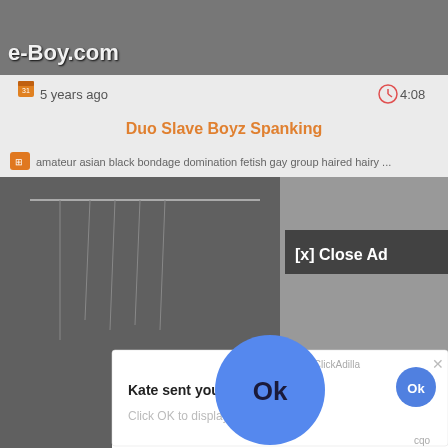[Figure (screenshot): Screenshot of a webpage showing a video listing with watermark 'e-Boy.com', a title 'Duo Slave Boyz Spanking', metadata showing '5 years ago' and duration '4:08', tags including amateur, asian, black, bondage, domination, fetish, gay, group, haired, hairy, and a pop-up ad overlay showing 'Kate sent you (5) pictures / Click OK to display the photo' with an Ok button, and 'Ads By ClickAdilla' label with close button.]